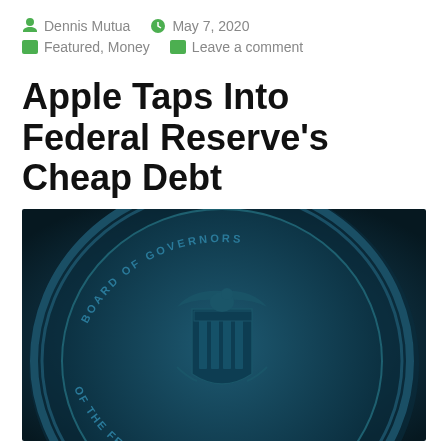Dennis Mutua   May 7, 2020   Featured, Money   Leave a comment
Apple Taps Into Federal Reserve's Cheap Debt
[Figure (photo): Close-up photo of the Federal Reserve Board of Governors seal, a large embossed circular medallion with an eagle and shield, in dark teal/blue tones. Text around the seal reads BOARD OF GOVERNORS OF THE FEDERAL RESERVE SYSTEM.]